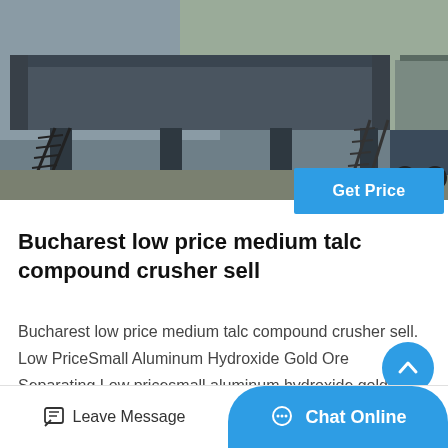[Figure (photo): Industrial heavy equipment - a large flat screening or crushing machine on a factory floor, dark metallic structure with support legs and access ladders, industrial warehouse setting]
Get Price
Bucharest low price medium talc compound crusher sell
Bucharest low price medium talc compound crusher sell. Low PriceSmall Aluminum Hydroxide Gold Ore Separating.Low pricesmall aluminum hydroxide gold ore separating linesellit at a…
Leave Message
Chat Online